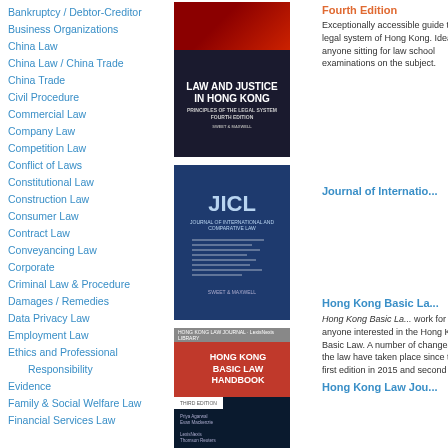Bankruptcy / Debtor-Creditor
Business Organizations
China Law
China Law / China Trade
China Trade
Civil Procedure
Commercial Law
Company Law
Competition Law
Conflict of Laws
Constitutional Law
Construction Law
Consumer Law
Contract Law
Conveyancing Law
Corporate
Criminal Law & Procedure
Damages / Remedies
Data Privacy Law
Employment Law
Ethics and Professional Responsibility
Evidence
Family & Social Welfare Law
Financial Services Law
[Figure (photo): Book cover: Law and Justice in Hong Kong, Fourth Edition]
Fourth Edition
Exceptionally accessible guide to the legal system of Hong Kong. Ideal for anyone sitting for law school examinations on the subject.
[Figure (photo): Book cover: JICL - Journal of International and Comparative Law]
Journal of International Law...
[Figure (photo): Book cover: Hong Kong Basic Law Handbook, Third Edition]
Hong Kong Basic La...
Hong Kong Basic Law Handbook is a useful work for anyone interested in the Hong Kong Basic Law. A number of changes to the law have taken place since the first edition in 2015 and second ed...
[Figure (photo): Book cover: Hong Kong Law Journal]
Hong Kong Law Jou...